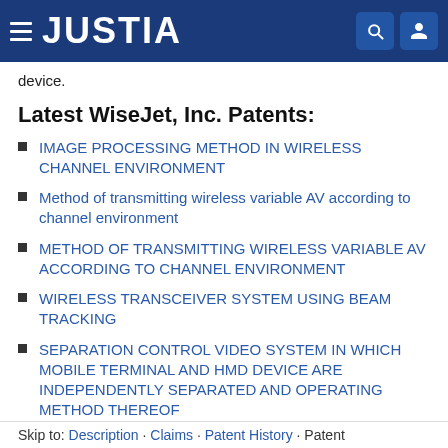JUSTIA
device.
Latest WiseJet, Inc. Patents:
IMAGE PROCESSING METHOD IN WIRELESS CHANNEL ENVIRONMENT
Method of transmitting wireless variable AV according to channel environment
METHOD OF TRANSMITTING WIRELESS VARIABLE AV ACCORDING TO CHANNEL ENVIRONMENT
WIRELESS TRANSCEIVER SYSTEM USING BEAM TRACKING
SEPARATION CONTROL VIDEO SYSTEM IN WHICH MOBILE TERMINAL AND HMD DEVICE ARE INDEPENDENTLY SEPARATED AND OPERATING METHOD THEREOF
Skip to: Description · Claims · Patent History · Patent